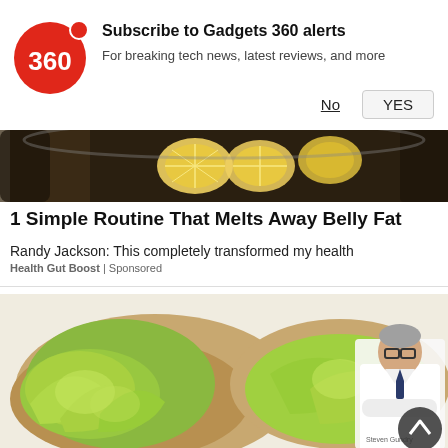[Figure (logo): Gadgets 360 red circular logo with '360' text and red dot]
Subscribe to Gadgets 360 alerts
For breaking tech news, latest reviews, and more
No    YES
[Figure (photo): Top portion of food image showing lemon slices and spices in a bowl]
1 Simple Routine That Melts Away Belly Fat
Randy Jackson: This completely transformed my health
Health Gut Boost | Sponsored
[Figure (photo): Avocado toast on whole grain bread with a doctor in white coat on the right side]